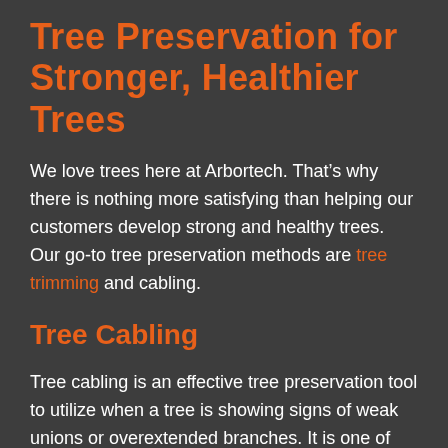Tree Preservation for Stronger, Healthier Trees
We love trees here at Arbortech. That’s why there is nothing more satisfying than helping our customers develop strong and healthy trees. Our go-to tree preservation methods are tree trimming and cabling.
Tree Cabling
Tree cabling is an effective tree preservation tool to utilize when a tree is showing signs of weak unions or overextended branches. It is one of the least invasive options when it comes to mitigating the risk of structural failure for your